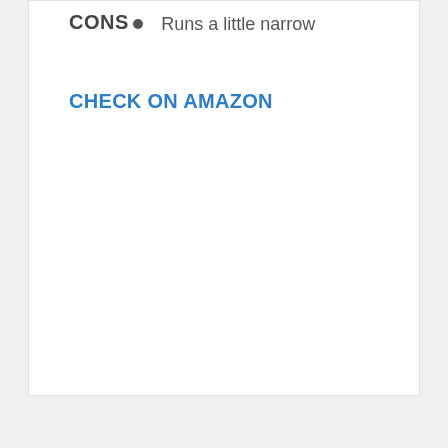CONS
Runs a little narrow
CHECK ON AMAZON